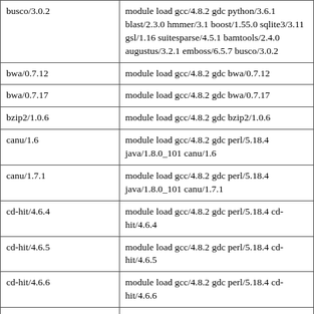| busco/3.0.2 | module load gcc/4.8.2 gdc python/3.6.1 blast/2.3.0 hmmer/3.1 boost/1.55.0 sqlite3/3.11 gsl/1.16 suitesparse/4.5.1 bamtools/2.4.0 augustus/3.2.1 emboss/6.5.7 busco/3.0.2 |
| bwa/0.7.12 | module load gcc/4.8.2 gdc bwa/0.7.12 |
| bwa/0.7.17 | module load gcc/4.8.2 gdc bwa/0.7.17 |
| bzip2/1.0.6 | module load gcc/4.8.2 gdc bzip2/1.0.6 |
| canu/1.6 | module load gcc/4.8.2 gdc perl/5.18.4 java/1.8.0_101 canu/1.6 |
| canu/1.7.1 | module load gcc/4.8.2 gdc perl/5.18.4 java/1.8.0_101 canu/1.7.1 |
| cd-hit/4.6.4 | module load gcc/4.8.2 gdc perl/5.18.4 cd-hit/4.6.4 |
| cd-hit/4.6.5 | module load gcc/4.8.2 gdc perl/5.18.4 cd-hit/4.6.5 |
| cd-hit/4.6.6 | module load gcc/4.8.2 gdc perl/5.18.4 cd-hit/4.6.6 |
| cd-hit/4.8.1 | module load gcc/4.8.2 gdc perl/5.18.4 cd-hit/4.8.1 |
| cigar/0.11.1 | module load gcc/4.8.2 gdc perl/5.18.4 |